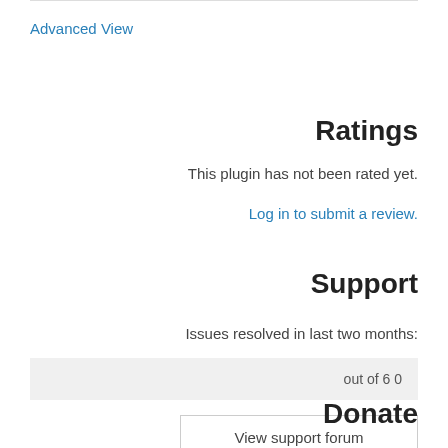Advanced View
Ratings
This plugin has not been rated yet.
Log in to submit a review.
Support
Issues resolved in last two months:
0 out of 6
View support forum
Donate